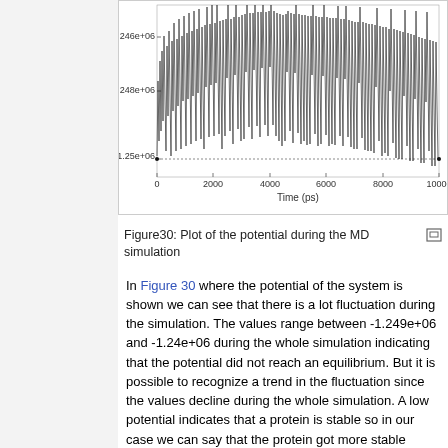[Figure (continuous-plot): Line/waveform plot showing potential energy (kJ/mol) vs time (ps) from 0 to 10000 ps. Y-axis ranges from approximately -1.25e+06 to -1.246e+06. Dense black fluctuating signal with overall declining trend.]
Figure30: Plot of the potential during the MD simulation
In Figure 30 where the potential of the system is shown we can see that there is a lot fluctuation during the simulation. The values range between -1.249e+06 and -1.24e+06 during the whole simulation indicating that the potential did not reach an equilibrium. But it is possible to recognize a trend in the fluctuation since the values decline during the whole simulation. A low potential indicates that a protein is stable so in our case we can say that the protein got more stable during the simulation. This fact is very good for the protein since the shape is important for the function and as it is important for a functional protein to